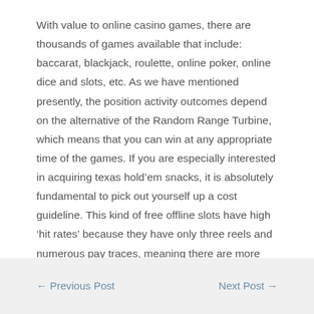With value to online casino games, there are thousands of games available that include: baccarat, blackjack, roulette, online poker, online dice and slots, etc. As we have mentioned presently, the position activity outcomes depend on the alternative of the Random Range Turbine, which means that you can win at any appropriate time of the games. If you are especially interested in acquiring texas hold'em snacks, it is absolutely fundamental to pick out yourself up a cost guideline. This kind of free offline slots have high 'hit rates' because they have only three reels and numerous pay traces, meaning there are more ways to win in each spin.
← Previous Post    Next Post →